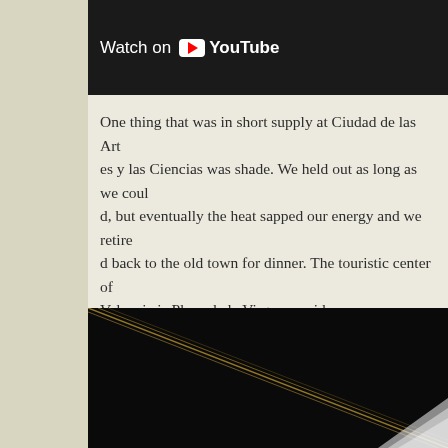[Figure (screenshot): YouTube video thumbnail/embed with 'Watch on YouTube' button overlay on dark background]
One thing that was in short supply at Ciudad de las Artes y las Ciencias was shade. We held out as long as we could, but eventually the heat sapped our energy and we retired back to the old town for dinner. The touristic center of Valencia is Plaza de la Virgen, a wide open square lined with cafes and restaurants facing the stunning Cathedral Santa Maria and the Fuente del Turia. This was a good spot to let the kids run around for a bit and soak up some of the pure energy of the old city. This time we didn't find an impromptu late night party and we got to sleep relatively early.
[Figure (photo): Dark photograph showing diagonal lines (possibly architectural structure) with a white-clothed figure visible in the bottom right corner]